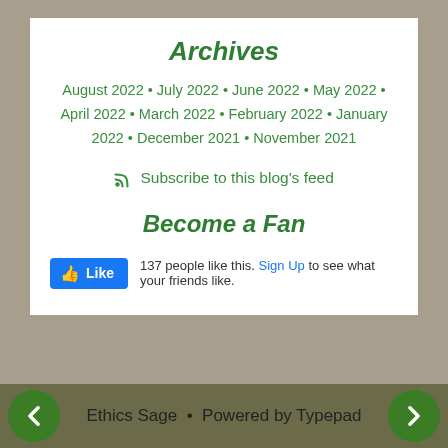Archives
August 2022 • July 2022 • June 2022 • May 2022 • April 2022 • March 2022 • February 2022 • January 2022 • December 2021 • November 2021
Subscribe to this blog's feed
Become a Fan
137 people like this. Sign Up to see what your friends like.
Ethics Sage • Powered by Typepad